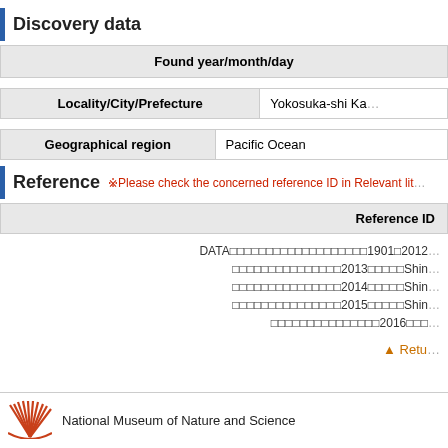Discovery data
| Found year/month/day |
| --- |
| Locality/City/Prefecture | Yokosuka-shi Ka... |
| --- | --- |
| Geographical region | Pacific Ocean |
| --- | --- |
Reference
※Please check the concerned reference ID in Relevant lit...
| Reference ID |
| --- |
DATA□□□□□□□□□□□□□□□□□□□1901□2012□
□□□□□□□□□□□□□□□2013□□□□□Shin□
□□□□□□□□□□□□□□□2014□□□□□Shin□
□□□□□□□□□□□□□□□2015□□□□□Shin□
□□□□□□□□□□□□□□□2016□□□
▲ Retu...
National Museum of Nature and Science